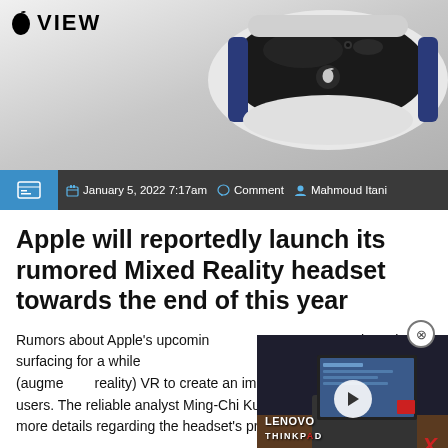[Figure (photo): VR/Mixed Reality headset image (Apple Vision Pro concept) with Apple VIEW logo in top left corner]
January 5, 2022 7:17am  Comment  Mahmoud Itani
Apple will reportedly launch its rumored Mixed Reality headset towards the end of this year
Rumors about Apple's upcoming have been surfacing for a while reportedly be combining (augme reality) VR to create an immersive experience for users. The reliable analyst Ming-Chi Kuo has now shared even more details regarding the headset's production, release
[Figure (screenshot): Video thumbnail showing a Lenovo ThinkPad X laptop with play button overlay]